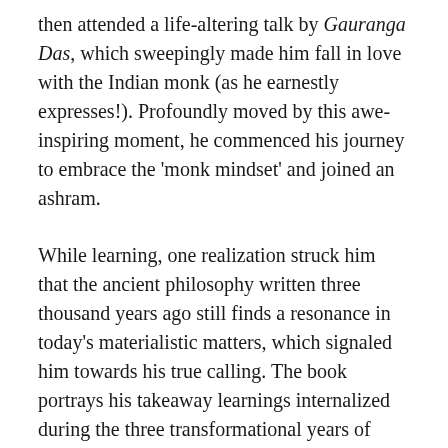then attended a life-altering talk by Gauranga Das, which sweepingly made him fall in love with the Indian monk (as he earnestly expresses!). Profoundly moved by this awe-inspiring moment, he commenced his journey to embrace the 'monk mindset' and joined an ashram.
While learning, one realization struck him that the ancient philosophy written three thousand years ago still finds a resonance in today's materialistic matters, which signaled him towards his true calling. The book portrays his takeaway learnings internalized during the three transformational years of ashram life. He exemplifies Bhagavad Gita's (sacred text and life manual) timeless teachings for readers to navigate life's baffling situations.
Interestingly, the author distinguishes what is referred to